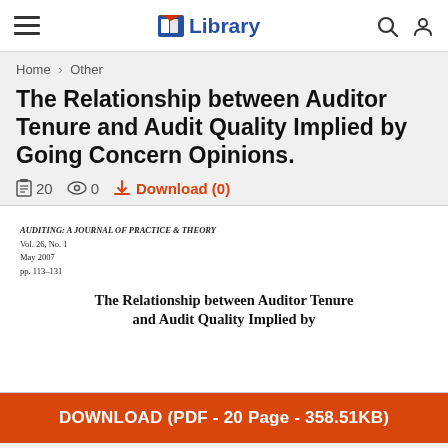Library
Home > Other
The Relationship between Auditor Tenure and Audit Quality Implied by Going Concern Opinions.
20 pages · 0 views · Download (0)
AUDITING: A JOURNAL OF PRACTICE & THEORY
Vol. 26, No. 1
May 2007
pp. 113–131
The Relationship between Auditor Tenure and Audit Quality Implied by
DOWNLOAD (PDF - 20 Page - 358.51KB)